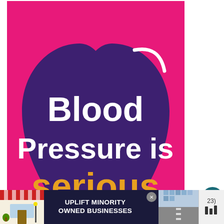[Figure (illustration): Pink/magenta square background with a large dark purple heart shape in the center. Inside the heart, white bold text reads 'Blood Pressure is' and yellow-orange bold text reads 'serious'. A white curved arc appears in the upper right of the heart.]
The Warrior Champion Point
[Figure (screenshot): What's Next panel showing 'WHAT'S NEXT →' header and 'Dragonknight Healer PVE...' with a dark thumbnail image]
[Figure (infographic): Bottom advertisement bar: dark navy background with storefront graphic on left, 'UPLIFT MINORITY OWNED BUSINESSES' text in center, close button, and road/highway thumbnail on right. Far right shows '23)' and dark icons.]